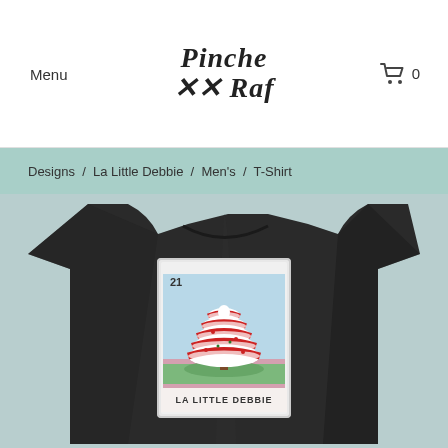Menu | Pinche Raf | Cart 0
Designs / La Little Debbie / Men's / T-Shirt
[Figure (photo): A dark/black t-shirt featuring a loteria-style card design. The card shows number 21, a Christmas tree cake (Little Debbie snack cake) styled as a loteria card illustration with red and white striped frosting layers, and the text 'LA LITTLE DEBBIE' at the bottom of the card.]